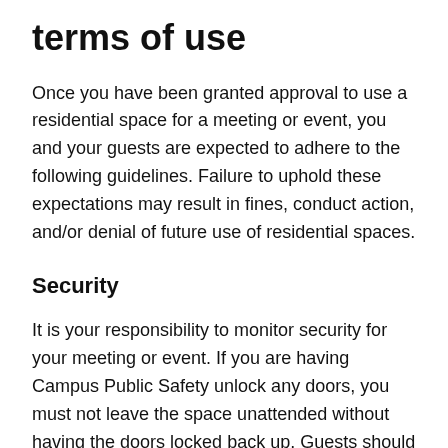terms of use
Once you have been granted approval to use a residential space for a meeting or event, you and your guests are expected to adhere to the following guidelines. Failure to uphold these expectations may result in fines, conduct action, and/or denial of future use of residential spaces.
Security
It is your responsibility to monitor security for your meeting or event. If you are having Campus Public Safety unlock any doors, you must not leave the space unattended without having the doors locked back up. Guests should access only the reserved space and the